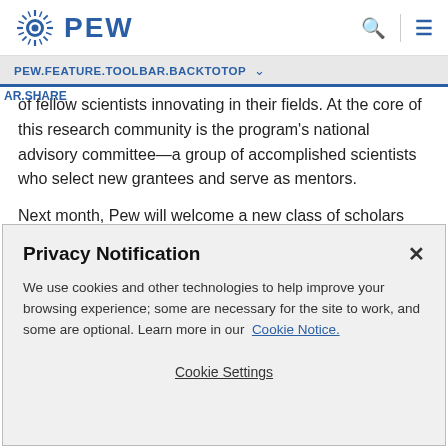PEW
PEW.FEATURE.TOOLBAR.BACKTOTOP
of fellow scientists innovating in their fields. At the core of this research community is the program's national advisory committee—a group of accomplished scientists who select new grantees and serve as mentors.

Next month, Pew will welcome a new class of scholars and fellows. This interview with committee chairs Craig Mello
Privacy Notification
We use cookies and other technologies to help improve your browsing experience; some are necessary for the site to work, and some are optional. Learn more in our Cookie Notice.
Cookie Settings